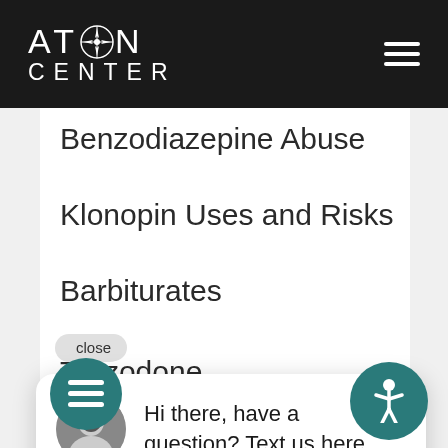Aton Center
Benzodiazepine Abuse
Klonopin Uses and Risks
Barbiturates
Trazodone
close
Hi there, have a question? Text us here.
[Figure (logo): Aton Center teal logo with compass rose]
[Figure (illustration): Chat message bubble icon (teal circle with lines)]
[Figure (illustration): Accessibility icon (teal circle with person figure)]